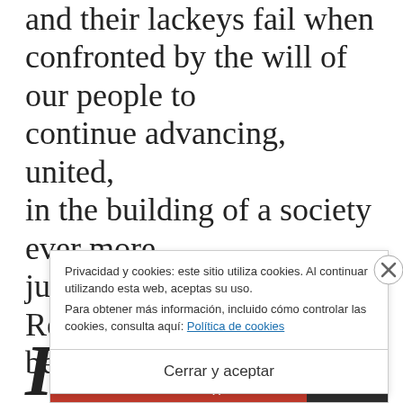and their lackeys fail when confronted by the will of our people to continue advancing, united, in the building of a society ever more just and democratic. Reason is and always will be our shield.
Privacidad y cookies: este sitio utiliza cookies. Al continuar utilizando esta web, aceptas su uso. Para obtener más información, incluido cómo controlar las cookies, consulta aquí: Política de cookies
Cerrar y aceptar